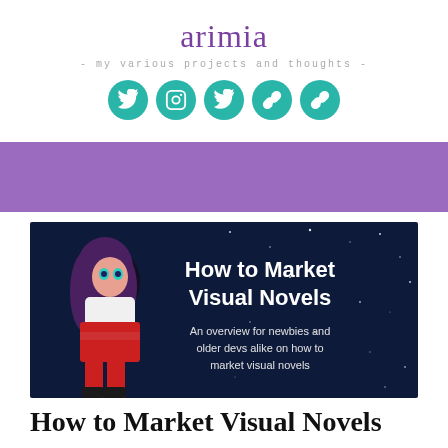arimia
- my various projects and thoughts -
[Figure (infographic): Five teal circular social media icons: Twitter, Instagram, Twitter, link, link]
[Figure (other): Purple navigation bar]
[Figure (illustration): Banner image: How to Market Visual Novels - An overview for newbies and older devs alike on how to market visual novels. Shows anime-style female character on left with starry dark blue background and white text on right.]
How to Market Visual Novels